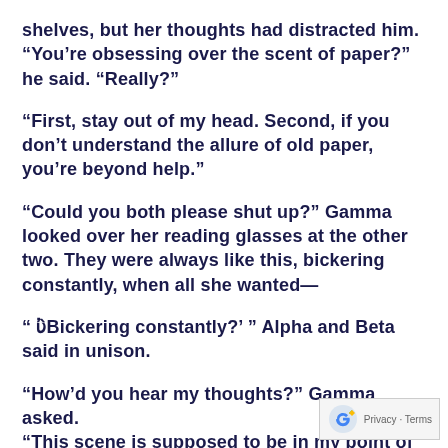shelves, but her thoughts had distracted him. “You’re obsessing over the scent of paper?” he said. “Really?”
“First, stay out of my head. Second, if you don’t understand the allure of old paper, you’re beyond help.”
“Could you both please shut up?” Gamma looked over her reading glasses at the other two. They were always like this, bickering constantly, when all she wanted—
“ ‘Bickering constantly?’ ” Alpha and Beta said in unison.
“How’d you hear my thoughts?” Gamma asked. “This scene is supposed to be in my point of v